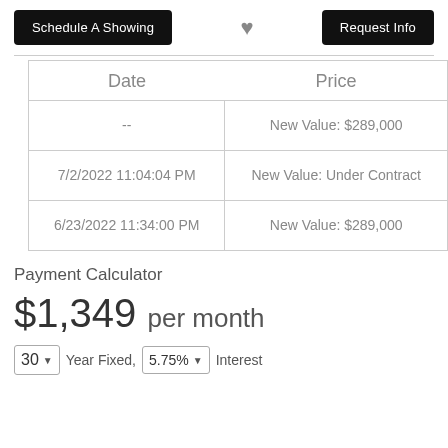Schedule A Showing | ♥ | Request Info
| Date | Price |
| --- | --- |
| -- | New Value: $289,000 |
| 7/2/2022 11:04:04 PM | New Value: Under Contract |
| 6/23/2022 11:34:00 PM | New Value: $289,000 |
Payment Calculator
$1,349 per month
30 ▼ Year Fixed, 5.75% ▼ Interest